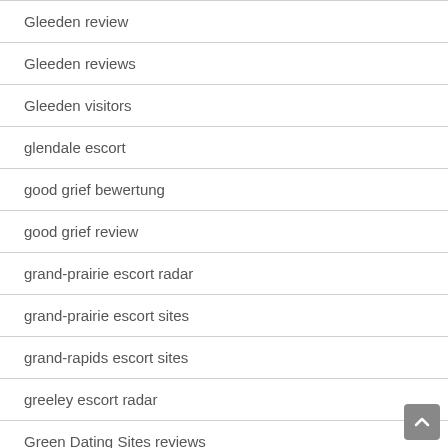Gleeden review
Gleeden reviews
Gleeden visitors
glendale escort
good grief bewertung
good grief review
grand-prairie escort radar
grand-prairie escort sites
grand-rapids escort sites
greeley escort radar
Green Dating Sites reviews
Green Dating Sites sites
green singles espa?a